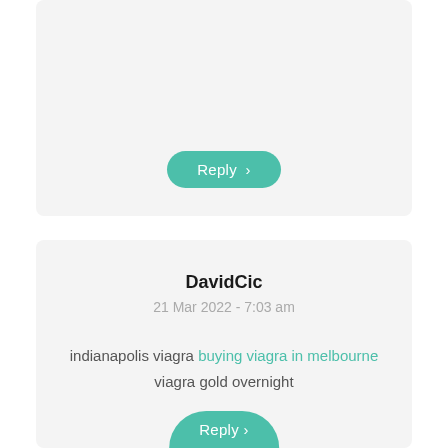[Figure (other): Reply button (teal rounded pill) from previous comment card]
DavidCic
21 Mar 2022 - 7:03 am
indianapolis viagra buying viagra in melbourne
viagra gold overnight
[Figure (other): Partially visible Reply button at bottom of page]